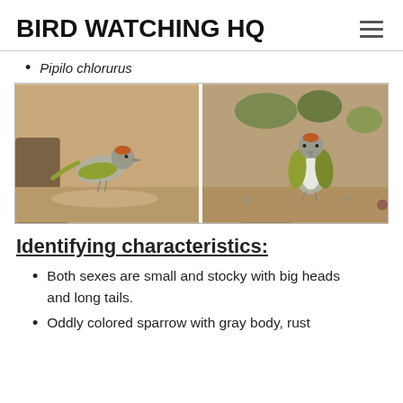BIRD WATCHING HQ
Pipilo chlorurus
[Figure (photo): Two photographs side by side of Green-tailed Towhees (Pipilo chlorurus) on rocky ground. Left photo shows the bird in profile with visible rust cap and yellow-green wings. Right photo shows the bird facing forward with gray and white breast visible.]
Identifying characteristics:
Both sexes are small and stocky with big heads and long tails.
Oddly colored sparrow with gray body, rust